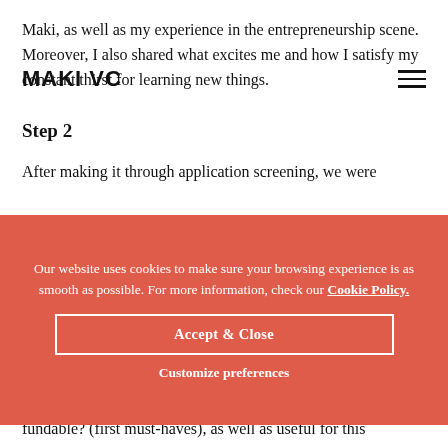Maki, as well as my experience in the entrepreneurship scene. Moreover, I also shared what excites me and how I satisfy my constant thirst for learning new things.
MAKI VC
Step 2
After making it through application screening, we were
Our website uses cookies to make sure your browsing experience is as smooth as possible. For more information, check our Cookie Policy.
Accept & Close
Customize preferences
g y
fundable? (first must-haves), as well as useful for this